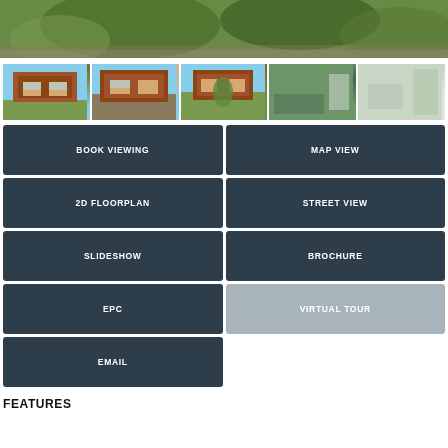[Figure (photo): Main property photo showing garden with green foliage and trees]
[Figure (photo): Row of 5 thumbnail photos of the property: exterior views and interior rooms]
BOOK VIEWING
MAP VIEW
2D FLOORPLAN
STREET VIEW
SLIDESHOW
BROCHURE
EPC
VIRTUAL TOUR
EMAIL
FEATURES